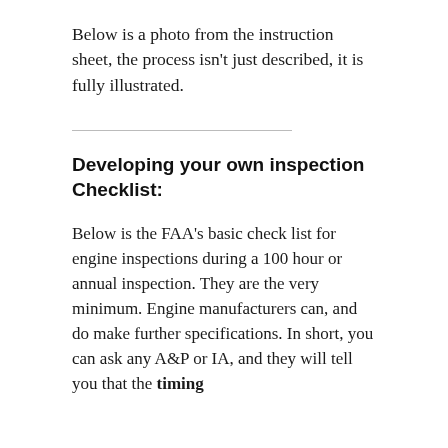Below is a photo from the instruction sheet, the process isn't just described, it is fully illustrated.
Developing your own inspection Checklist:
Below is the FAA's basic check list for engine inspections during a 100 hour or annual inspection. They are the very minimum. Engine manufacturers can, and do make further specifications. In short, you can ask any A&P or IA, and they will tell you that the timing